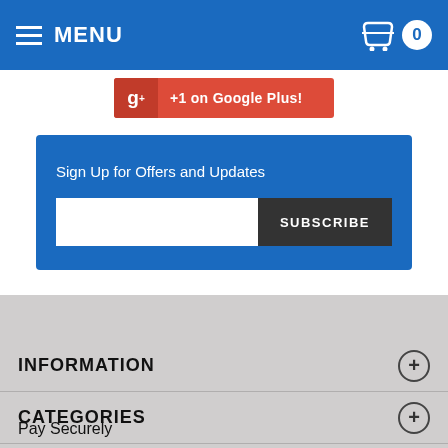MENU
[Figure (screenshot): +1 on Google Plus! button with Google+ icon]
Sign Up for Offers and Updates
INFORMATION
CATEGORIES
Pay Securely